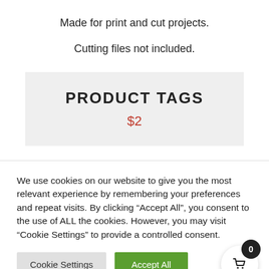Made for print and cut projects.
Cutting files not included.
PRODUCT TAGS
$2
We use cookies on our website to give you the most relevant experience by remembering your preferences and repeat visits. By clicking “Accept All”, you consent to the use of ALL the cookies. However, you may visit “Cookie Settings” to provide a controlled consent.
Cookie Settings
Accept All